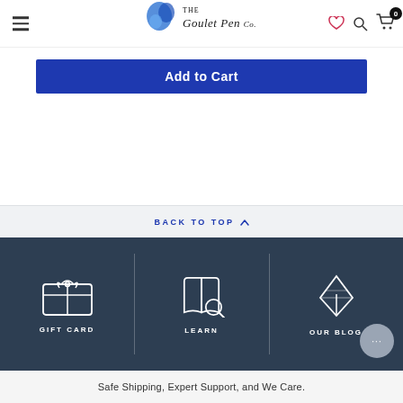The Goulet Pen Co. navigation header with hamburger menu, logo, heart, search, and cart icons
Add to Cart
BACK TO TOP
[Figure (illustration): Gift card icon — white line drawing of a gift card with bow]
GIFT CARD
[Figure (illustration): Learn icon — white line drawing of open book with magnifying glass]
LEARN
[Figure (illustration): Blog icon — white line drawing of fountain pen nib]
OUR BLOG
Safe Shipping, Expert Support, and We Care.